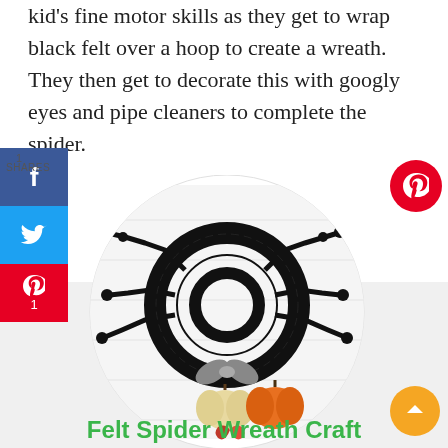kid's fine motor skills as they get to wrap black felt over a hoop to create a wreath. They then get to decorate this with googly eyes and pipe cleaners to complete the spider.
[Figure (photo): A black felt spider wreath craft with googly eyes made from pipe cleaners, displayed on a white wooden background with small pumpkins and a red leaf decoration. The image is shown in a circular crop.]
Felt Spider Wreath Craft